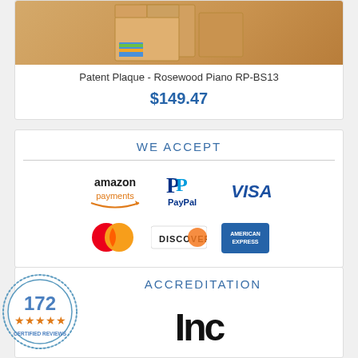[Figure (photo): Moving boxes stacked with colorful items visible]
Patent Plaque - Rosewood Piano RP-BS13
$149.47
WE ACCEPT
[Figure (logo): Payment method logos: Amazon Payments, PayPal, Visa, MasterCard, Discover, American Express]
ACCREDITATION
[Figure (logo): 172 Certified Reviews badge (circular stamp)]
[Figure (logo): Inc. logo partial]